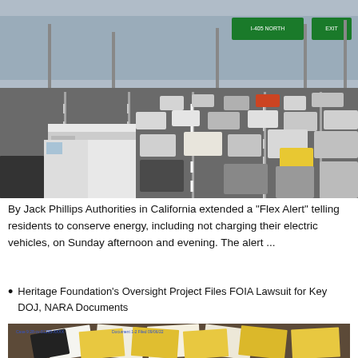[Figure (photo): Busy multi-lane highway packed with cars and large trucks, taken from ground level, with green highway signs and buildings visible in the background.]
By Jack Phillips Authorities in California extended a “Flex Alert” telling residents to conserve energy, including not charging their electric vehicles, on Sunday afternoon and evening. The alert ...
Heritage Foundation's Oversight Project Files FOIA Lawsuit for Key DOJ, NARA Documents
[Figure (photo): Scattered documents and folders on a patterned surface, with a case number visible at the top.]